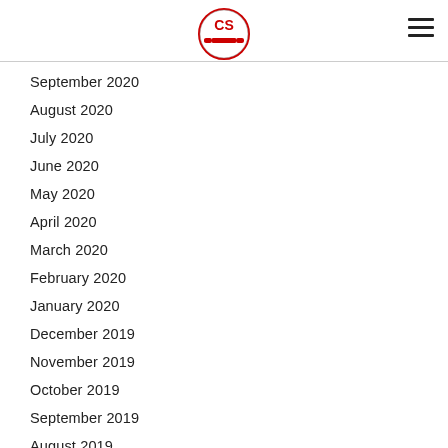Challenger Strength logo and navigation
September 2020
August 2020
July 2020
June 2020
May 2020
April 2020
March 2020
February 2020
January 2020
December 2019
November 2019
October 2019
September 2019
August 2019
July 2019
June 2019
May 2019